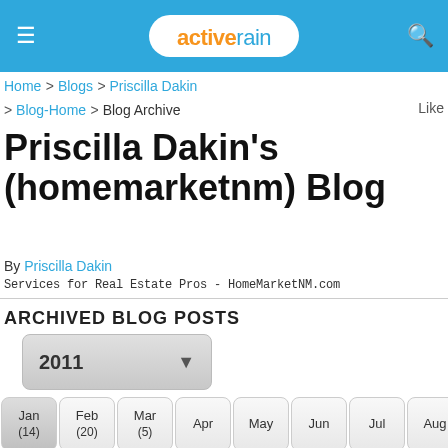activerain
Home > Blogs > Priscilla Dakin > Blog-Home > Blog Archive
Priscilla Dakin's (homemarketnm) Blog
By Priscilla Dakin
Services for Real Estate Pros - HomeMarketNM.com
ARCHIVED BLOG POSTS
2011
Jan (14) | Feb (20) | Mar (5) | Apr | May | Jun | Jul | Aug | Sep | Oct | Nov | Dec